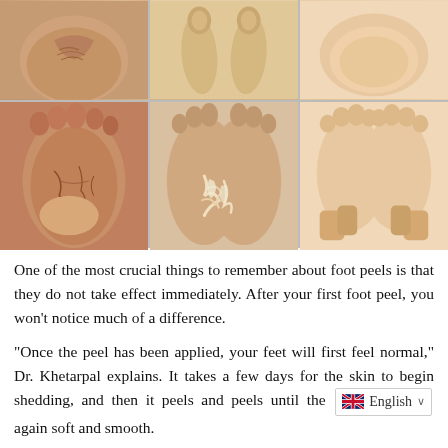[Figure (photo): A 2x3 grid of foot photos showing various conditions: top row shows heels/toes from different angles, bottom row shows soles of feet including dry/cracked skin, peeling skin, and healthy smooth skin]
One of the most crucial things to remember about foot peels is that they do not take effect immediately. After your first foot peel, you won't notice much of a difference.
“Once the peel has been applied, your feet will first feel normal,” Dr. Khetarpal explains. It takes a few days for the skin to begin shedding, and then it peels and peels until the [English dropdown] again soft and smooth.